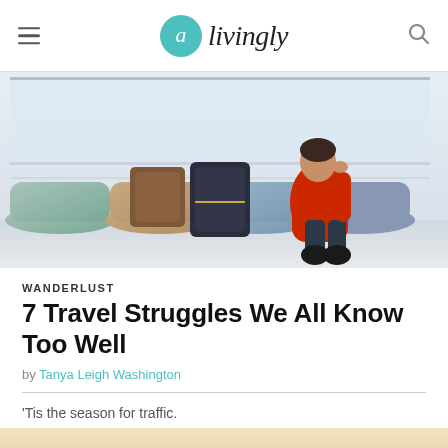livingly
[Figure (photo): Woman in red coat sitting in airport terminal chairs with luggage, looking stressed or waiting]
WANDERLUST
7 Travel Struggles We All Know Too Well
by Tanya Leigh Washington
'Tis the season for traffic.
[Figure (photo): Partial bottom image, warm tan/beige tones, appears to be another travel-related photo]